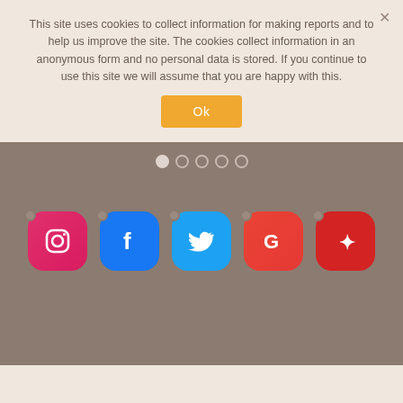This site uses cookies to collect information for making reports and to help us improve the site. The cookies collect information in an anonymous form and no personal data is stored. If you continue to use this site we will assume that you are happy with this.
[Figure (screenshot): Cookie consent banner with Ok button, navigation dots, and social media icons (Instagram, Facebook, Twitter, Google, Yelp) on a brownish-gray background]